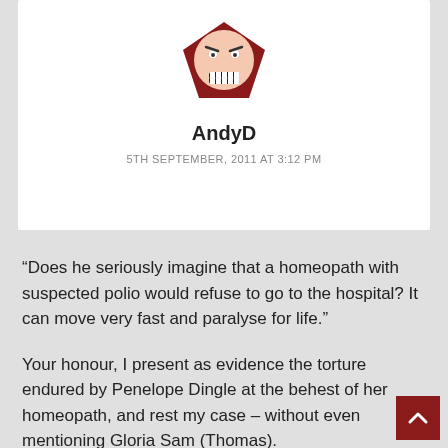[Figure (illustration): Cartoon avatar of a distressed face on a dark red pentagon background]
AndyD
5TH SEPTEMBER, 2011 AT 3:12 PM
“Does he seriously imagine that a homeopath with suspected polio would refuse to go to the hospital? It can move very fast and paralyse for life.”
Your honour, I present as evidence the torture endured by Penelope Dingle at the behest of her homeopath, and rest my case – without even mentioning Gloria Sam (Thomas).